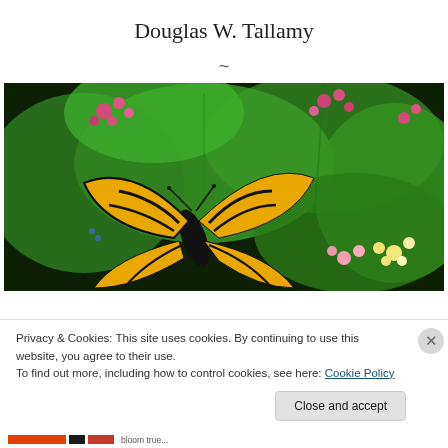Douglas W. Tallamy
~
[Figure (photo): Close-up photo of a swallowtail butterfly (black with yellow markings) feeding on lantana flowers with pink and white blooms surrounded by green leaves.]
Privacy & Cookies: This site uses cookies. By continuing to use this website, you agree to their use.
To find out more, including how to control cookies, see here: Cookie Policy
Close and accept